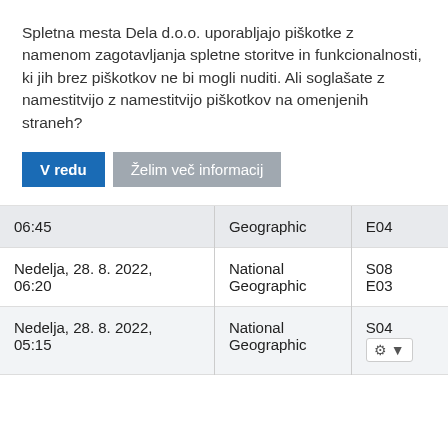Spletna mesta Dela d.o.o. uporabljajo piškotke z namenom zagotavljanja spletne storitve in funkcionalnosti, ki jih brez piškotkov ne bi mogli nuditi. Ali soglašate z namestitvijo z namestitvijo piškotkov na omenjenih straneh?
V redu
Želim več informacij
| 06:45 | Geographic | E04 |
| Nedelja, 28. 8. 2022, 06:20 | National Geographic | S08 E03 |
| Nedelja, 28. 8. 2022, 05:15 | National Geographic | S04 ⚙ |